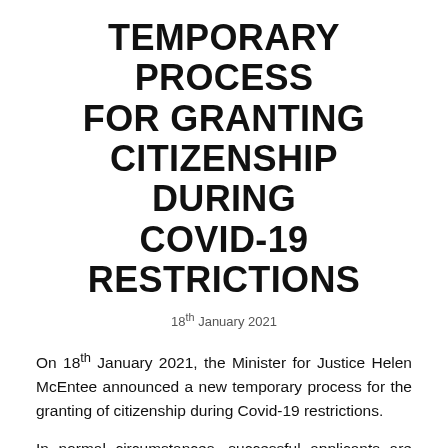TEMPORARY PROCESS FOR GRANTING CITIZENSHIP DURING COVID-19 RESTRICTIONS
18th January 2021
On 18th January 2021, the Minister for Justice Helen McEntee announced a new temporary process for the granting of citizenship during Covid-19 restrictions.
In normal circumstances, successful applicants are required to attend a citizenship ceremony in order to obtain a certificate of nationality.
However, citizenship ceremonies have been